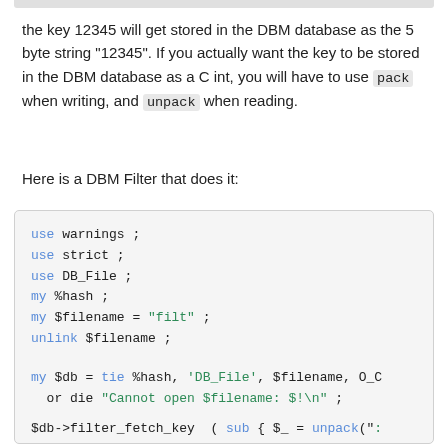the key 12345 will get stored in the DBM database as the 5 byte string "12345". If you actually want the key to be stored in the DBM database as a C int, you will have to use pack when writing, and unpack when reading.
Here is a DBM Filter that does it:
use warnings ;
use strict ;
use DB_File ;
my %hash ;
my $filename = "filt" ;
unlink $filename ;


my $db = tie %hash, 'DB_File', $filename, O_C
  or die "Cannot open $filename: $!\n" ;

$db->filter_fetch_key  ( sub { $_ = unpack(":
$db->filter_store_key  ( sub { $_ = pack ("i'
$hash{123} = "def" ;